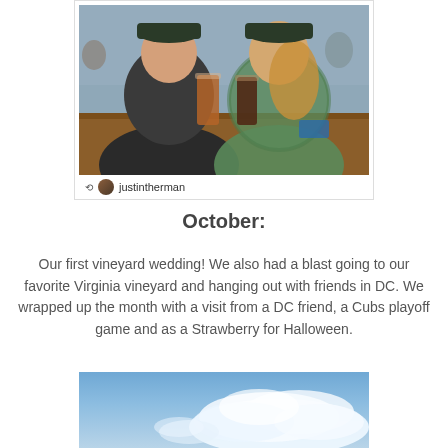[Figure (photo): Two people clinking beer glasses at a bar/brewery, both wearing baseball caps. A man in a dark jacket on the left and a woman in a plaid shirt on the right. Bar/restaurant setting with other people in background. Photo has Instagram-style repost footer with username 'justintherman'.]
October:
Our first vineyard wedding! We also had a blast going to our favorite Virginia vineyard and hanging out with friends in DC. We wrapped up the month with a visit from a DC friend, a Cubs playoff game and as a Strawberry for Halloween.
[Figure (photo): Blue sky with white fluffy clouds, partial photo cut off at bottom of page.]